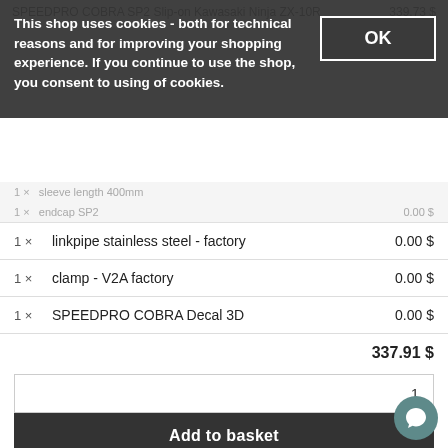SPEEDPRO COBRA SP2 Slip-on Kawasaki Ninja ZX-10R   339.73 $
This shop uses cookies - both for technical reasons and for improving your shopping experience. If you continue to use the shop, you consent to using of cookies.
| Qty | Item | Price |
| --- | --- | --- |
| 1 × | sleeve length 400mm | 0.00 $ |
| 1 × | endcap SP2 | 0.00 $ |
| 1 × | linkpipe stainless steel - factory | 0.00 $ |
| 1 × | clamp - V2A factory | 0.00 $ |
| 1 × | SPEEDPRO COBRA Decal 3D | 0.00 $ |
337.91 $
Add to basket
Description
Product Tags
SPEEDPRO COBRA SP2